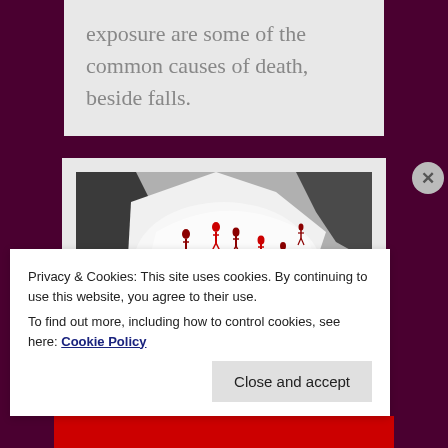exposure are some of the common causes of death, beside falls.
[Figure (photo): Black and white aerial or overhead photo of a snowy mountain landscape with multiple skiers or mountaineers in red gear visible across the snow.]
Privacy & Cookies: This site uses cookies. By continuing to use this website, you agree to their use.
To find out more, including how to control cookies, see here: Cookie Policy